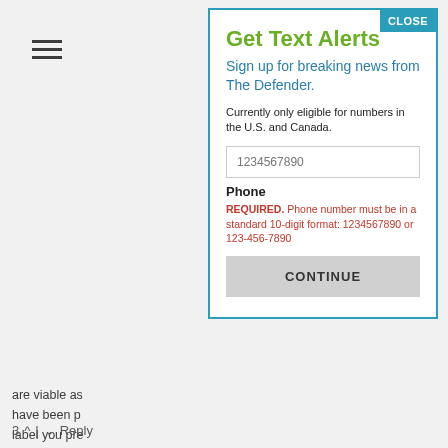[Figure (screenshot): Hamburger menu icon (three horizontal lines) in top-left corner of background page]
are viable as have been p label you pre animals, and Laboratories positive tests Coronavirus and it has ne exist but only epidemic exc ^ is the tip of Am happy fo anyone to explain what might be answered on
3 ^ | v Reply
Get Text Alerts
Sign up for breaking news from The Defender.
Currently only eligible for numbers in the U.S. and Canada.
1234567890
Phone
REQUIRED. Phone number must be in a standard 10-digit format: 1234567890 or 123-456-7890
CONTINUE